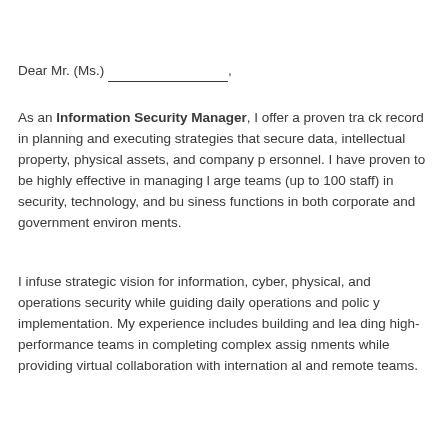Dear Mr. (Ms.) ________________,
As an Information Security Manager, I offer a proven track record in planning and executing strategies that secure data, intellectual property, physical assets, and company personnel. I have proven to be highly effective in managing large teams (up to 100 staff) in security, technology, and business functions in both corporate and government environments.
I infuse strategic vision for information, cyber, physical, and operations security while guiding daily operations and policy implementation. My experience includes building and leading high-performance teams in completing complex assignments while providing virtual collaboration with international and remote teams.